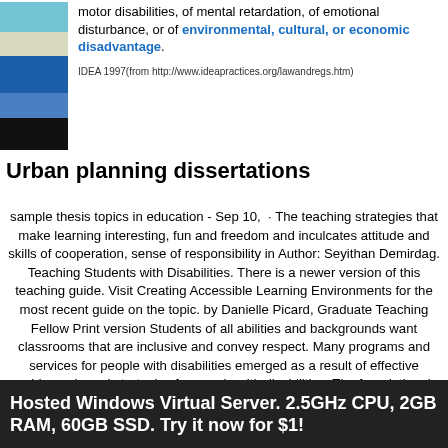[Figure (illustration): Colored vertical blocks (teal, beige, dark blue, medium blue, black) stacked on the left side of the top section]
motor disabilities, of mental retardation, of emotional disturbance, or of environmental, cultural, or economic disadvantage.
IDEA 1997(from http://www.ideapractices.org/lawandregs.htm)
Urban planning dissertations
sample thesis topics in education - Sep 10, · The teaching strategies that make learning interesting, fun and freedom and inculcates attitude and skills of cooperation, sense of responsibility in Author: Seyithan Demirdag. Teaching Students with Disabilities. There is a newer version of this teaching guide. Visit Creating Accessible Learning Environments for the most recent guide on the topic. by Danielle Picard, Graduate Teaching Fellow Print version Students of all abilities and backgrounds want classrooms that are inclusive and convey respect. Many programs and services for people with disabilities emerged as a result of effective evidence-based strategies for people with disabilities. The foundational laws noted above supported students with intellectual disabilities not only by allowing them to attend schools with programs that met their needs, but also by providing teachers with the Author: Natasha Cox, Minto, Peter, Penso, Kathleen Domino, Domino. Intellectual Synthesis Synthesis of dissertation Danielle…
Hosted Windows Virtual Server. 2.5GHz CPU, 2GB RAM, 60GB SSD. Try it now for $1!